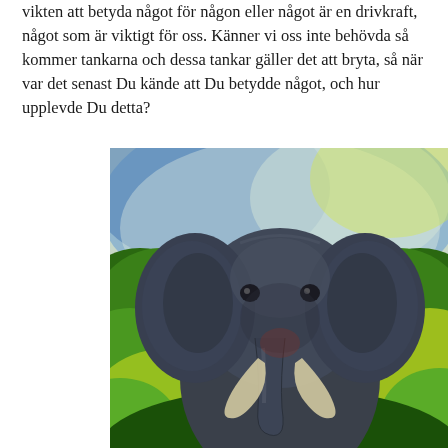vikten att betyda något för någon eller något är en drivkraft, något som är viktigt för oss. Känner vi oss inte behövda så kommer tankarna och dessa tankar gäller det att bryta, så när var det senast Du kände att Du betydde något, och hur upplevde Du detta?
[Figure (illustration): A painting of an elephant facing forward, rendered in dark blue-grey tones, with large ears spread wide and white tusks visible. The background features a blue and white sky at the top and green foliage on both sides and bottom, in an impressionistic painted style.]